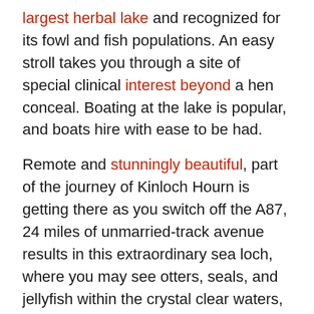largest herbal lake and recognized for its fowl and fish populations. An easy stroll takes you through a site of special clinical interest beyond a hen conceal. Boating at the lake is popular, and boats hire with ease to be had.
Remote and stunningly beautiful, part of the journey of Kinloch Hourn is getting there as you switch off the A87, 24 miles of unmarried-track avenue results in this extraordinary sea loch, where you may see otters, seals, and jellyfish within the crystal clear waters, in addition to an abundance of water birds. However, the avenue is not for the faint of heart; however, take it slowly, and you're likely to see deer using the roadside and soaring birds of prey. There are a little cafe and B&B (doubles £90, cottage £775pw, kinlochhourn.Com) serving fruitcake and coffee, which is a lovable location to linger. There is a direction alongside the loch with perspectives of the surrounding mountains. Orchids and different wildflowers